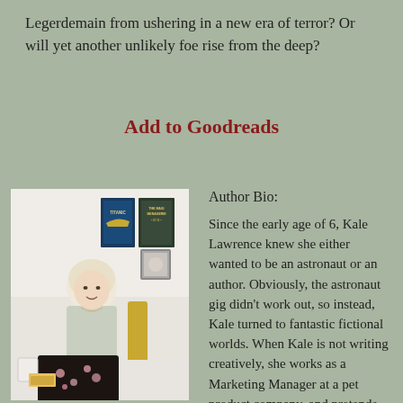Legerdemain from ushering in a new era of terror? Or will yet another unlikely foe rise from the deep?
Add to Goodreads
[Figure (photo): Photo of author Kale Lawrence, a woman with short blonde/white hair seated at a white desk with a floral laptop, yellow chair behind her, posters on wall behind including Titanic and The Magi Menagerie]
Author Bio:
Since the early age of 6, Kale Lawrence knew she either wanted to be an astronaut or an author. Obviously, the astronaut gig didn't work out, so instead, Kale turned to fantastic fictional worlds. When Kale is not writing creatively, she works as a Marketing Manager at a pet product company, and pretends